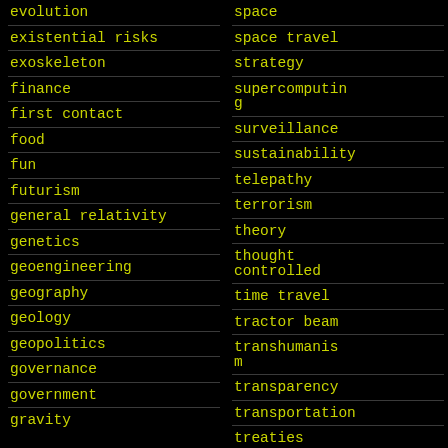evolution
existential risks
exoskeleton
finance
first contact
food
fun
futurism
general relativity
genetics
geoengineering
geography
geology
geopolitics
governance
government
gravity
space
space travel
strategy
supercomputing
surveillance
sustainability
telepathy
terrorism
theory
thought controlled
time travel
tractor beam
transhumanism
transparency
transportation
treaties